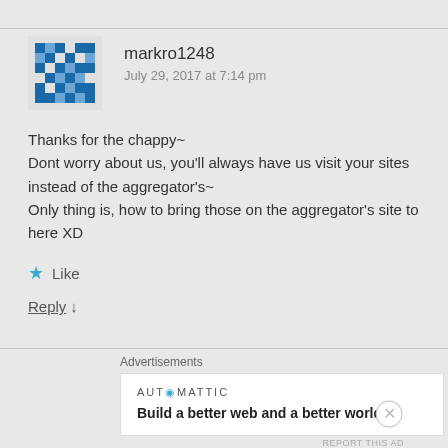[Figure (illustration): Blue and white pixel/diamond pattern avatar icon for user markro1248]
markro1248
July 29, 2017 at 7:14 pm
Thanks for the chappy~
Dont worry about us, you'll always have us visit your sites instead of the aggregator's~
Only thing is, how to bring those on the aggregator's site to here XD
★ Like
Reply ↓
Advertisements
[Figure (logo): Automattic logo with teal O]
Build a better web and a better world.
REPORT THIS AD